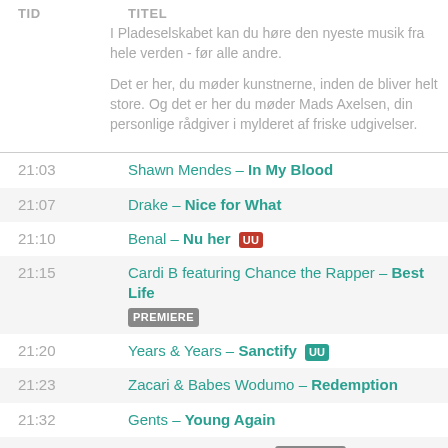TID   TITEL
I Pladeselskabet kan du høre den nyeste musik fra hele verden - før alle andre.

Det er her, du møder kunstnerne, inden de bliver helt store. Og det er her du møder Mads Axelsen, din personlige rådgiver i mylderet af friske udgivelser.
21:03  Shawn Mendes – In My Blood
21:07  Drake – Nice for What
21:10  Benal – Nu her [UU]
21:15  Cardi B featuring Chance the Rapper – Best Life [PREMIERE]
21:20  Years & Years – Sanctify [UU]
21:23  Zacari & Babes Wodumo – Redemption
21:32  Gents – Young Again
21:42  Gents – Empty Shell [PREMIERE]
21:46  Jada – Keep Cool
21:50  Off Bloom – Rockefe11a (Fuck That to Be Honest)
21:53  Erika de Casier – Intimate
21:57  Anya – Avalanche